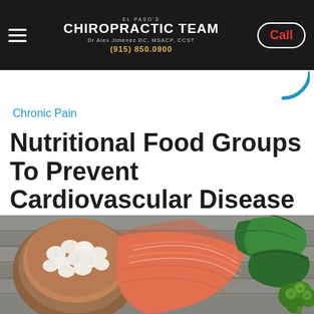El Paso's Chiropractic Team | Dr Alex Jimenez DC, MSACP, CCST | (915) 850.0900 | Call
Chronic Pain
Nutritional Food Groups To Prevent Cardiovascular Disease | Part 2
[Figure (photo): Photo of nutritional foods on a wooden surface: a wooden bowl filled with white beans, a salmon fillet, fresh spinach leaves, and broccoli florets]